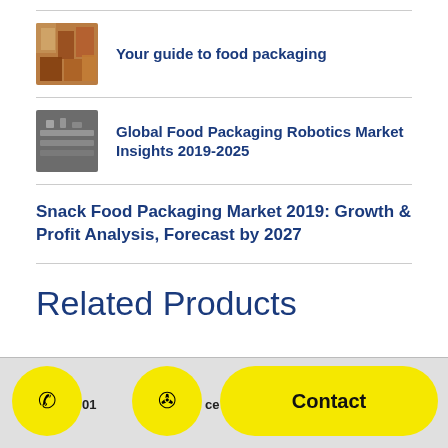Your guide to food packaging
Global Food Packaging Robotics Market Insights 2019-2025
Snack Food Packaging Market 2019: Growth & Profit Analysis, Forecast by 2027
Related Products
40 Tooth - w/Slots